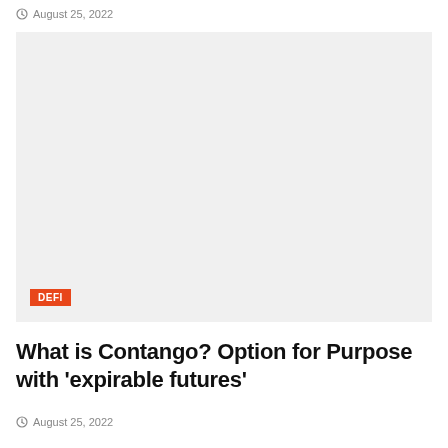August 25, 2022
[Figure (photo): Large image placeholder with light gray background, DEFI category badge in orange at bottom left]
What is Contango? Option for Purpose with 'expirable futures'
August 25, 2022